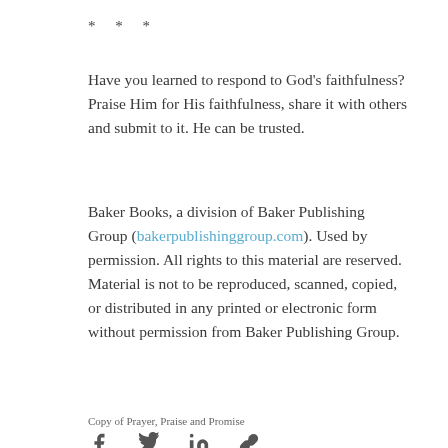* * *
Have you learned to respond to God's faithfulness? Praise Him for His faithfulness, share it with others and submit to it. He can be trusted.
Baker Books, a division of Baker Publishing Group (bakerpublishinggroup.com). Used by permission. All rights to this material are reserved. Material is not to be reproduced, scanned, copied, or distributed in any printed or electronic form without permission from Baker Publishing Group.
Copy of Prayer, Praise and Promise